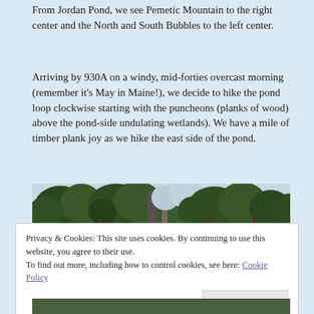From Jordan Pond, we see Pemetic Mountain to the right center and the North and South Bubbles to the left center.
Arriving by 930A on a windy, mid-forties overcast morning (remember it's May in Maine!), we decide to hike the pond loop clockwise starting with the puncheons (planks of wood) above the pond-side undulating wetlands).  We have a mile of timber plank joy as we hike the east side of the pond.
[Figure (photo): A forest scene with pine/evergreen trees viewed from below, overcast sky visible through the branches. Panoramic landscape photo taken at Jordan Pond area.]
Privacy & Cookies: This site uses cookies. By continuing to use this website, you agree to their use.
To find out more, including how to control cookies, see here: Cookie Policy
Close and accept